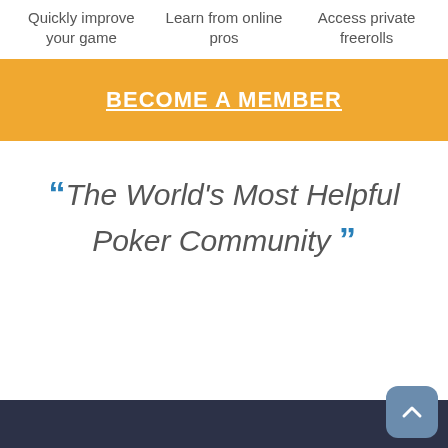Quickly improve your game
Learn from online pros
Access private freerolls
BECOME A MEMBER
“The World's Most Helpful Poker Community”